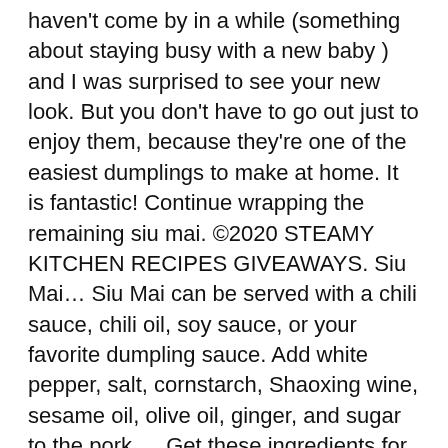haven't come by in a while (something about staying busy with a new baby ) and I was surprised to see your new look. But you don't have to go out just to enjoy them, because they're one of the easiest dumplings to make at home. It is fantastic! Continue wrapping the remaining siu mai. ©2020 STEAMY KITCHEN RECIPES GIVEAWAYS. Siu Mai… Siu Mai can be served with a chili sauce, chili oil, soy sauce, or your favorite dumpling sauce. Add white pepper, salt, cornstarch, Shaoxing wine, sesame oil, olive oil, ginger, and sugar to the pork … Get these ingredients for curbside pickup or delivery! For this particular recipe, I used fresh shiitake mushrooms. Press each siu mai down on a countertop to flatten their bottoms. Steaming frozen siopao incorporates two methods of cooking – dry-heat and moist-heat. Terms & Conditions / Privacy Policy / Official Giveaway Rules. Once frozen, transfer the shumai to a freezer bag. Siu mai is een open, ronde, gestoomde dumpling gevuld met varkensgehakt waar soms ook nog garnaal of chinese